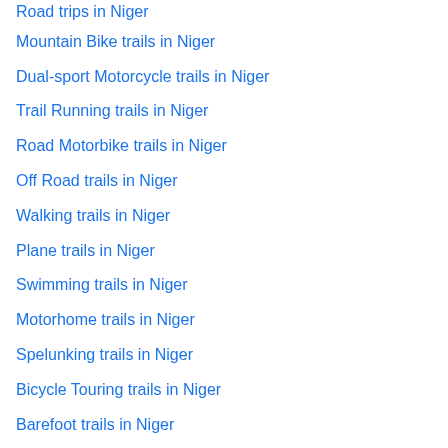Road trips in Niger
Mountain Bike trails in Niger
Dual-sport Motorcycle trails in Niger
Trail Running trails in Niger
Road Motorbike trails in Niger
Off Road trails in Niger
Walking trails in Niger
Plane trails in Niger
Swimming trails in Niger
Motorhome trails in Niger
Spelunking trails in Niger
Bicycle Touring trails in Niger
Barefoot trails in Niger